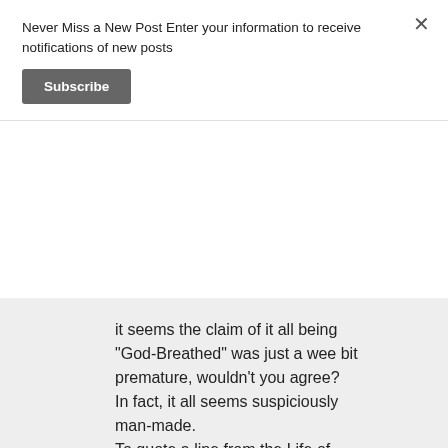Never Miss a New Post Enter your information to receive notifications of new posts
Subscribe
it seems the claim of it all being "God-Breathed" was just a wee bit premature, wouldn't you agree?
In fact, it all seems suspiciously man-made.
To quote a line from the Life of Brian: "He's making it up as he goes along!"
Liked by 1 person